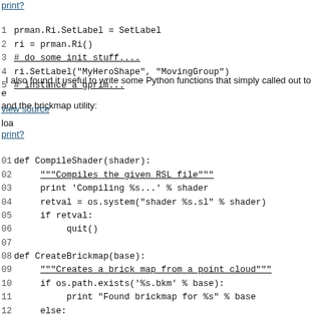print?
1 prman.Ri.SetLabel = SetLabel
2 ri = prman.Ri()
3 # do some init stuff....
4 ri.SetLabel("MyHeroShape", "MovingGroup")
5 # instance a gprim...
I also found it useful to write some Python functions that simply called out to e and the brickmap utility:
view source
loa
print?
01 def CompileShader(shader):
02     """Compiles the given RSL file"""
03     print 'Compiling %s...' % shader
04     retval = os.system("shader %s.sl" % shader)
05     if retval:
06          quit()
07
08 def CreateBrickmap(base):
09     """Creates a brick map from a point cloud"""
10     if os.path.exists('%s.bkm' % base):
11          print "Found brickmap for %s" % base
12     else:
13          print "Creating brickmap for %s..." % base